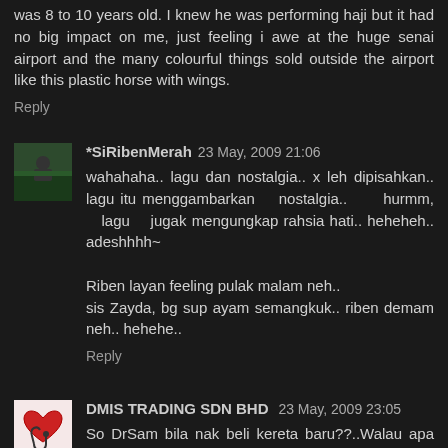was 8 to 10 years old. I knew he was performing haji but it had no big impact on me, just feeling i awe at the huge senai airport and the many colourful things sold outside the airport like this plastic horse with wings.
Reply
*SiRibenMerah  23 May, 2009 21:06
wahahaha.. lagu dan nostalgia.. x leh dipisahkan.. lagu itu menggambarkan nostalgia.. hurmm, lagu jugak mengungkap rahsia hati.. heheheh.. adeshhhh~

Riben layan feeling pulak malam neh..
sis Zayda, bg sup ayam semangkuk.. riben demam neh.. hehehe..
Reply
DMIS TRADING SDN BHD  23 May, 2009 23:05
So DrSam bila nak beli kereta baru??..Walau apa pun Alhamdullilah semuanya selamat kembali. Sabar je la..